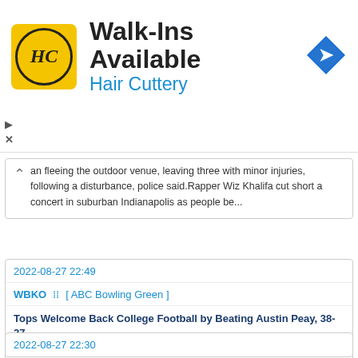[Figure (other): Hair Cuttery advertisement banner with HC logo, 'Walk-Ins Available' headline, 'Hair Cuttery' subtitle in blue, and navigation icon]
an fleeing the outdoor venue, leaving three with minor injuries, following a disturbance, police said.Rapper Wiz Khalifa cut short a concert in suburban Indianapolis as people be...
2022-08-27 22:49
WBKO  [ ABC Bowling Green ]
Tops Welcome Back College Football by Beating Austin Peay, 38-27...
In the very first college football game of 2022, wide receiver Malachi Corley hauled in three touchdown passes while the WKU defense forced three turnovers, and the Hilltoppers opened the 2022 campaign with a 38-27 victory over Austin Peay Saturday aftern...
2022-08-27 22:30